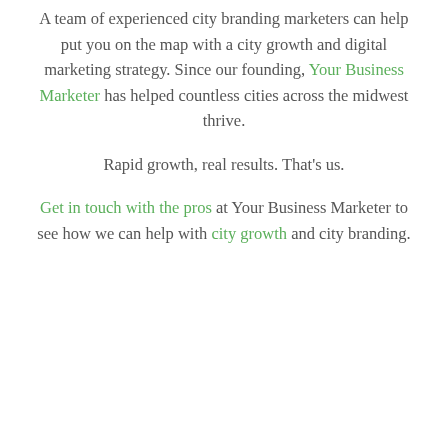A team of experienced city branding marketers can help put you on the map with a city growth and digital marketing strategy. Since our founding, Your Business Marketer has helped countless cities across the midwest thrive.
Rapid growth, real results. That's us.
Get in touch with the pros at Your Business Marketer to see how we can help with city growth and city branding.